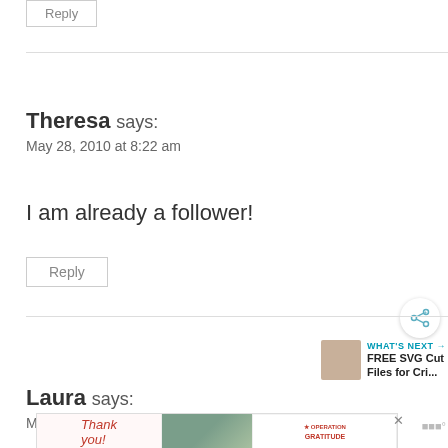Reply
Theresa says:
May 28, 2010 at 8:22 am
I am already a follower!
Reply
WHAT'S NEXT → FREE SVG Cut Files for Cri...
Laura says:
May 28, 2010 at 8:22 am
[Figure (other): Advertisement banner with 'Thank you!' text, Operation Gratitude logo, and close button]